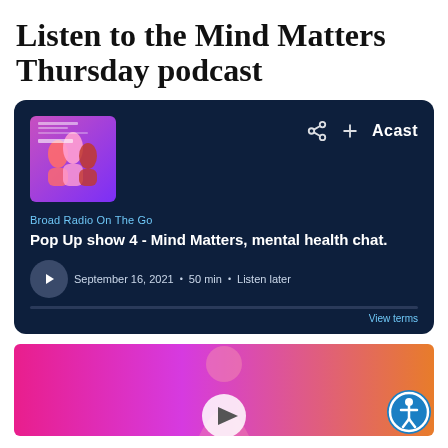Listen to the Mind Matters Thursday podcast
[Figure (screenshot): Acast podcast embed player showing 'Broad Radio On The Go' — episode 'Pop Up show 4 - Mind Matters, mental health chat.' dated September 16, 2021, 50 min, with Listen later option, on dark navy background with album art.]
[Figure (photo): Pink and orange gradient image with a person illustration and a play button overlay, partially visible at bottom of page.]